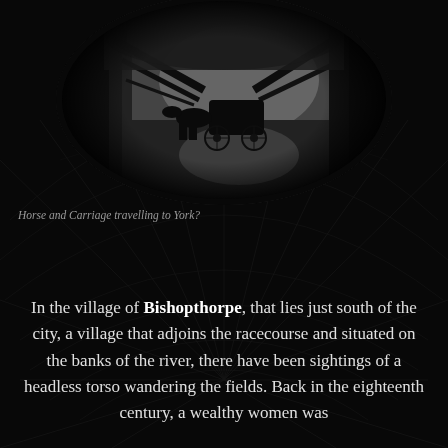[Figure (photo): Black and white atmospheric photo of a horse and carriage on a dark misty woodland path, viewed from behind. The silhouette of the carriage is visible against foggy trees. Photo is framed in an elliptical/oval vignette shape.]
Horse and Carriage travelling to York?
In the village of Bishopthorpe, that lies just south of the city, a village that adjoins the racecourse and situated on the banks of the river, there have been sightings of a headless torso wandering the fields. Back in the eighteenth century, a wealthy women was...